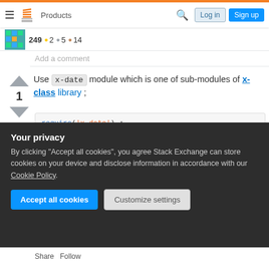≡  [StackOverflow logo]  Products  🔍  Log in  Sign up
249 • 2 • 5 • 14
Add a comment
Use x-date module which is one of sub-modules of x-class library ;
[Figure (screenshot): Code block showing: require('x-date') ; //--- new Date().format('yyyy-mm-dd HH:MM:ss') //'2016-07-17 18:12:37' new Date().format('ddd , yyyy-mm-dd HH:MM: // 'Sun  2016-07-17 18:12:51']
Your privacy
By clicking "Accept all cookies", you agree Stack Exchange can store cookies on your device and disclose information in accordance with our Cookie Policy.
Accept all cookies   Customize settings
Share  Follow